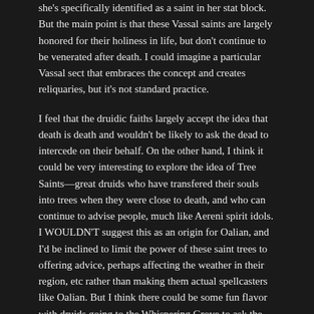she's specifically identified as a saint in her stat block. But the main point is that these Vassal saints are largely honored for their holiness in life, but don't continue to be venerated after death. I could imagine a particular Vassal sect that embraces the concept and creates reliquaries, but it's not standard practice.
I feel that the druidic faiths largely accept the idea that death is death and wouldn't be likely to ask the dead to intercede on their behalf. On the other hand, I think it could be very interesting to explore the idea of Tree Saints—great druids who have transfered their souls into trees when they were close to death, and who can continue to advise people, much like Aereni spirit idols. I WOULDN'T suggest this as an origin for Oalian, and I'd be inclined to limit the power of these saint trees to offering advice, perhaps affecting the weather in their region, etc rather than making them actual spellcasters like Oalian. But I think there could be some fun flavor with druids going to the Whispering Grove to ask the elders for advice.
That's all I have time for now. I'm happy to clarify these